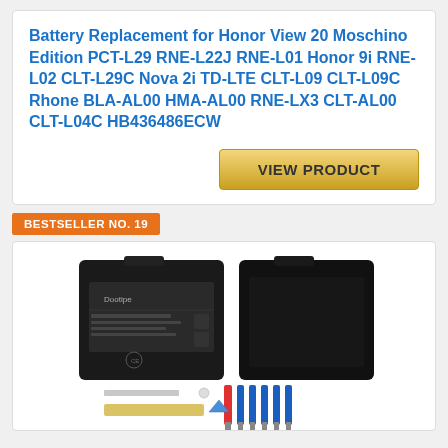Battery Replacement for Honor View 20 Moschino Edition PCT-L29 RNE-L22J RNE-L01 Honor 9i RNE-L02 CLT-L29C Nova 2i TD-LTE CLT-L09 CLT-L09C Rhone BLA-AL00 HMA-AL00 RNE-LX3 CLT-AL00 CLT-L04C HB436486ECW
VIEW PRODUCT
BESTSELLER NO. 19
[Figure (photo): Photo of a replacement battery (front and back view) with tools including screwdrivers and a screwdriver strip]